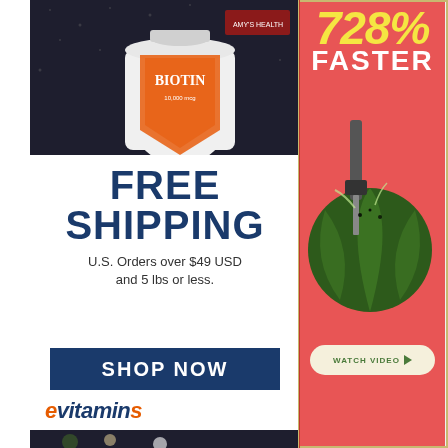[Figure (photo): Biotin supplement bottle on dark background, labeled BIOTIN 10,000 mcg]
FREE SHIPPING
U.S. Orders over $49 USD and 5 lbs or less.
[Figure (screenshot): SHOP NOW button in dark navy blue]
[Figure (logo): eVitamins logo with orange e and blue vitamins text]
[Figure (photo): Herbs and flowers on dark background]
[Figure (infographic): 728% FASTER advertisement with watermelon and drill, coral/red background, WATCH VIDEO button]